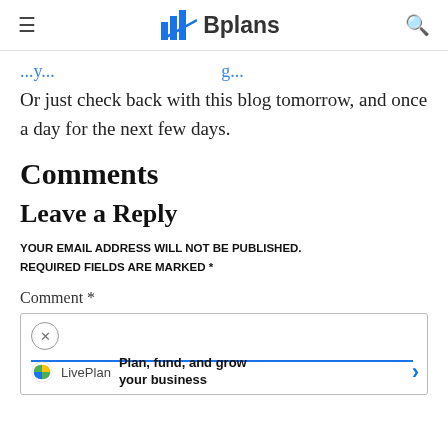≡  Bplans  🔍
Or just check back with this blog tomorrow, and once a day for the next few days.
Comments
Leave a Reply
YOUR EMAIL ADDRESS WILL NOT BE PUBLISHED. REQUIRED FIELDS ARE MARKED *
Comment *
[Figure (screenshot): Comment text area input box with a LivePlan advertisement banner showing close button, blue underline, LivePlan logo, 'Plan, fund, and grow your business' text and a blue arrow button]